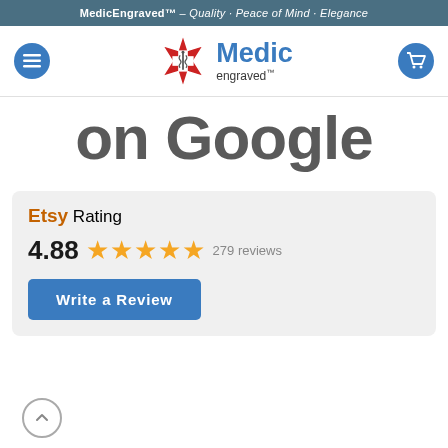MedicEngraved™ – Quality · Peace of Mind · Elegance
[Figure (logo): MedicEngraved logo with red star of life and blue Medic engraved™ text]
on Google
Etsy Rating
4.88 ★★★★★ 279 reviews
Write a Review